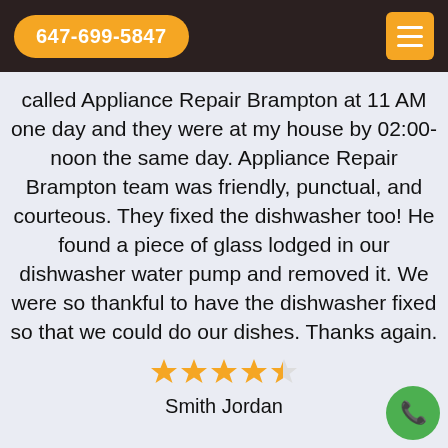647-699-5847
called Appliance Repair Brampton at 11 AM one day and they were at my house by 02:00-noon the same day. Appliance Repair Brampton team was friendly, punctual, and courteous. They fixed the dishwasher too! He found a piece of glass lodged in our dishwasher water pump and removed it. We were so thankful to have the dishwasher fixed so that we could do our dishes. Thanks again.
[Figure (other): 4.5 star rating shown as 4 full gold stars and 1 half gold star]
Smith Jordan